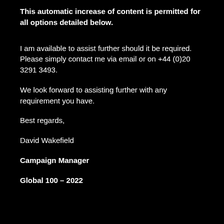This automatic increase of content is permitted for all options detailed below.
I am available to assist further should it be required. Please simply contact me via email or on +44 (0)20 3291 3493.
We look forward to assisting further with any requirement you have.
Best regards,
David Wakefield
Campaign Manager
Global 100 – 2022